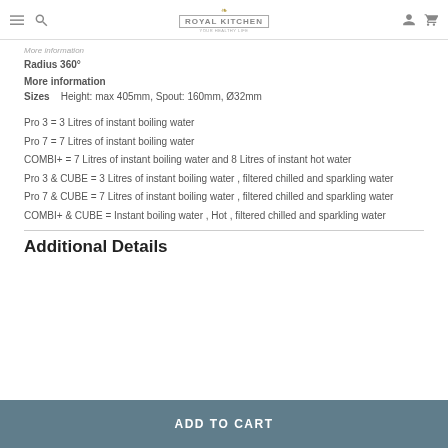Royal Kitchen - navigation header
More information
Radius 360°
More information
Sizes   Height: max 405mm, Spout: 160mm, Ø32mm
Pro 3 = 3 Litres of instant boiling water
Pro 7 = 7 Litres of instant boiling water
COMBI+ = 7 Litres of instant boiling water and 8 Litres of instant hot water
Pro 3 & CUBE = 3 Litres of instant boiling water , filtered chilled and sparkling water
Pro 7 & CUBE = 7 Litres of instant boiling water , filtered chilled and sparkling water
COMBI+ & CUBE = Instant boiling water , Hot , filtered chilled and sparkling water
Additional Details
ADD TO CART